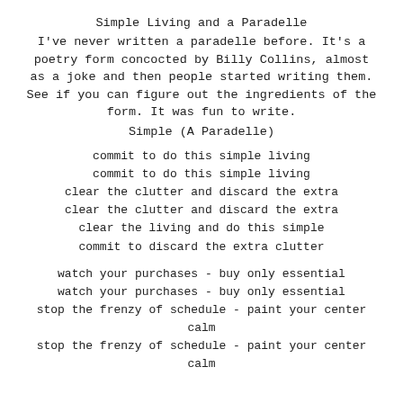Simple Living and a Paradelle
I've never written a paradelle before. It's a poetry form concocted by Billy Collins, almost as a joke and then people started writing them. See if you can figure out the ingredients of the form. It was fun to write.
Simple (A Paradelle)
commit to do this simple living
commit to do this simple living
clear the clutter and discard the extra
clear the clutter and discard the extra
clear the living and do this simple
commit to discard the extra clutter
watch your purchases - buy only essential
watch your purchases - buy only essential
stop the frenzy of schedule - paint your center calm
stop the frenzy of schedule - paint your center calm